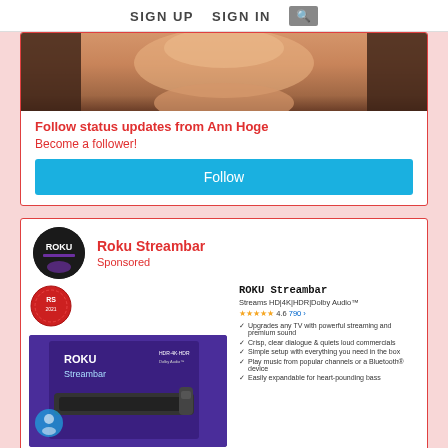SIGN UP   SIGN IN   🔍
[Figure (photo): Cropped close-up photo of a person's lower face/chin area with warm skin tones]
Follow status updates from Ann Hoge
Become a follower!
Follow
[Figure (logo): Roku logo in black circle]
Roku Streambar
Sponsored
[Figure (photo): Roku Streambar product box image on purple background, with RS badge seal and product details on right including rating 4.6, 790 reviews, and feature bullet points]
Upgrades any TV with powerful streaming and premium sound
Crisp, clear dialogue & quiets loud commercials
Simple setup with everything you need in the box
Play music from popular channels or a Bluetooth® device
Easily expandable for heart-pounding bass